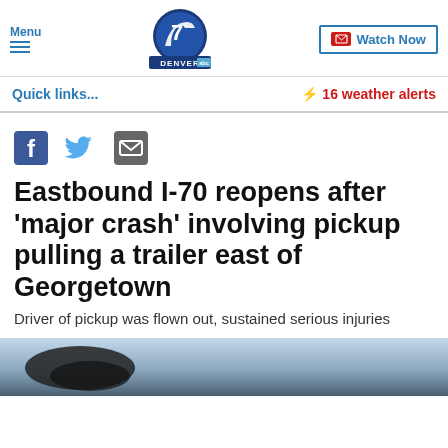Menu | Denver 7 ABC | Watch Now
Quick links... | ⚡ 16 weather alerts
[Figure (other): Social share icons: Facebook, Twitter, Email]
Eastbound I-70 reopens after 'major crash' involving pickup pulling a trailer east of Georgetown
Driver of pickup was flown out, sustained serious injuries
[Figure (photo): Partial image of a vehicle and mountains in the background]